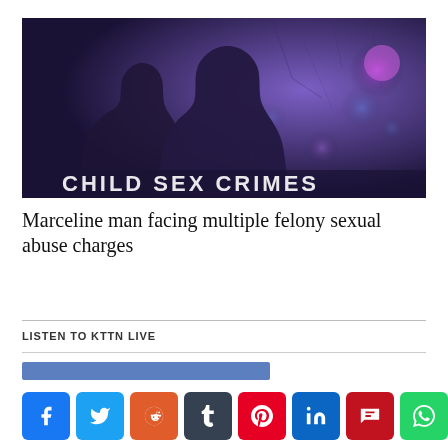[Figure (photo): Silhouettes of two children's faces in profile against a dark blue/purple background with bokeh lights and text reading CHILD SEX CRIMES partially visible at the bottom]
Marceline man facing multiple felony sexual abuse charges
LISTEN TO KTTN LIVE
[Figure (other): Audio player bar in blue]
[Figure (infographic): Social sharing buttons row: Facebook, Twitter, Reddit, Tumblr, Pinterest, LinkedIn, Parler, WhatsApp]